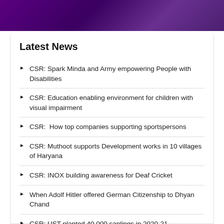[Figure (illustration): Purple/violet gradient banner image at the top of the page]
Latest News
CSR: Spark Minda and Army empowering People with Disabilities
CSR: Education enabling environment for children with visual impairment
CSR:  How top companies supporting sportspersons
CSR: Muthoot supports Development works in 10 villages of Haryana
CSR: INOX building awareness for Deaf Cricket
When Adolf Hitler offered German Citizenship to Dhyan Chand
CSR: UST planted 40,000 saplings in 2020-21
CSR: Vedanta setting up 4th computer lab. at a school